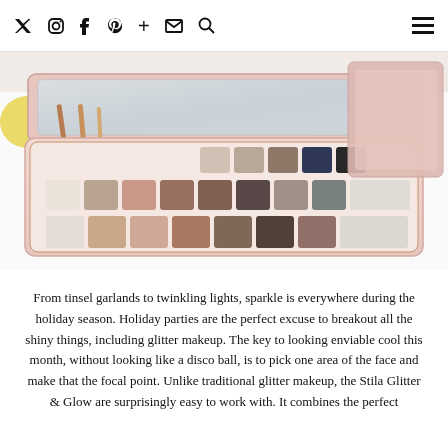Social media navigation icons and hamburger menu
[Figure (photo): Open eyeshadow palette with multiple shimmer and matte shades in neutral and dark tones, with a mirror inside the lid, displayed on a white surface next to its pink packaging box.]
From tinsel garlands to twinkling lights, sparkle is everywhere during the holiday season. Holiday parties are the perfect excuse to breakout all the shiny things, including glitter makeup. The key to looking enviable cool this month, without looking like a disco ball, is to pick one area of the face and make that the focal point. Unlike traditional glitter makeup, the Stila Glitter & Glow are surprisingly easy to work with. It combines the perfect